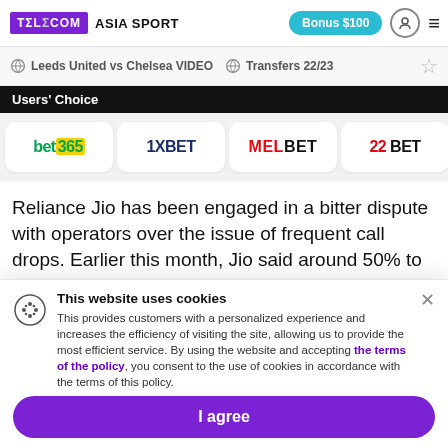TELECOM ASIA SPORT | Bonus $100
Leeds United vs Chelsea VIDEO   Transfers 22/23
Users' Choice
[Figure (logo): Row of bookmaker logos: bet365, 1XBET, MELBET, 22BET]
Reliance Jio has been engaged in a bitter dispute with operators over the issue of frequent call drops. Earlier this month, Jio said around 50% to 60% of calls from Jio users to the three largest mobile network operators Airtel
This website uses cookies
This provides customers with a personalized experience and increases the efficiency of visiting the site, allowing us to provide the most efficient service. By using the website and accepting the terms of the policy, you consent to the use of cookies in accordance with the terms of this policy.
I agree